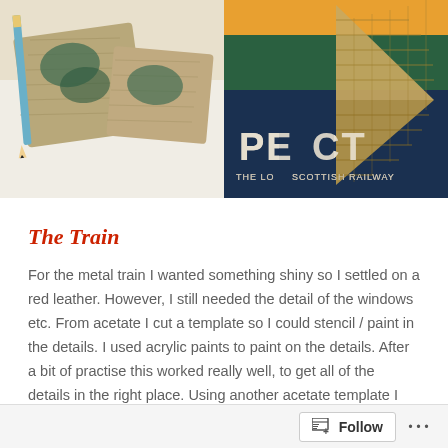[Figure (photo): Two side-by-side photos: left shows craft materials including burlap/hessian fabric pieces with green paint and a pencil on white fabric; right shows a woven straw/rattan triangular shape placed on a vintage travel poster reading 'PERFECT' with 'THE LO... SCOTTISH RAILWAY' text.]
The Train
For the metal train I wanted something shiny so I settled on a red leather. However, I still needed the detail of the windows etc. From acetate I cut a template so I could stencil / paint in the details. I used acrylic paints to paint on the details. After a bit of practise this worked really well, to get all of the details in the right place. Using another acetate template I cut out the shape of the train using a very
Follow ...